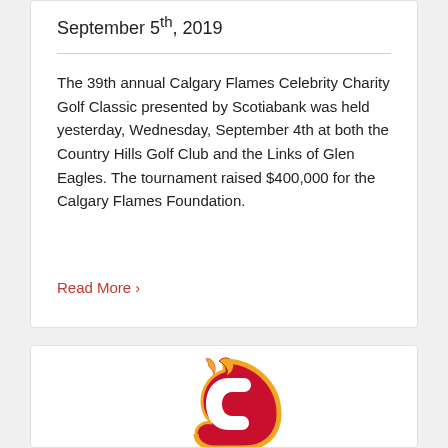September 5th, 2019
The 39th annual Calgary Flames Celebrity Charity Golf Classic presented by Scotiabank was held yesterday, Wednesday, September 4th at both the Country Hills Golf Club and the Links of Glen Eagles. The tournament raised $400,000 for the Calgary Flames Foundation.
Read More ›
[Figure (logo): Calgary Flames logo — red and orange flame with a white C]